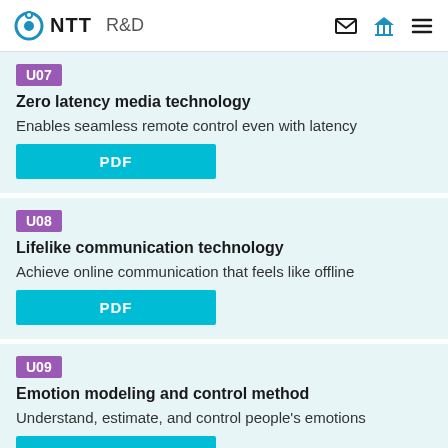NTT R&D
U07
Zero latency media technology
Enables seamless remote control even with latency
U08
Lifelike communication technology
Achieve online communication that feels like offline
U09
Emotion modeling and control method
Understand, estimate, and control people's emotions